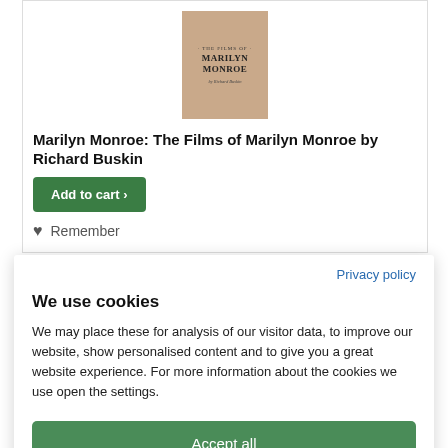[Figure (illustration): Book cover for 'The Films of Marilyn Monroe by Richard Buskin' with a tan/brown background]
Marilyn Monroe: The Films of Marilyn Monroe by Richard Buskin
Privacy policy
We use cookies
We may place these for analysis of our visitor data, to improve our website, show personalised content and to give you a great website experience. For more information about the cookies we use open the settings.
Accept all
Deny
No, adjust
Add to cart
Remember